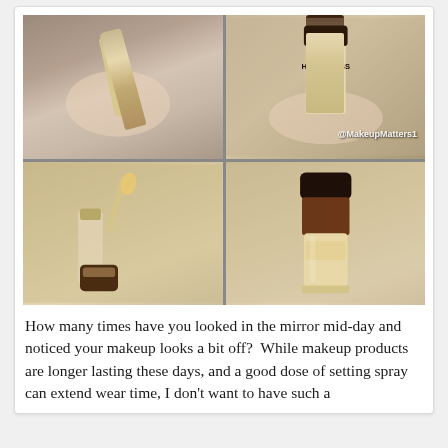[Figure (photo): Four-panel photo grid showing Hourglass concealer product: top-left shows a hand holding a concealer bottle, top-right shows a hand holding Hourglass labeled concealer with dark brown cap, bottom-left shows the open concealer with wand applicator visible, bottom-right shows the Hourglass concealer standing upright. Watermark @MakeupMatters1 visible on top-right panel.]
How many times have you looked in the mirror mid-day and noticed your makeup looks a bit off?  While makeup products are longer lasting these days, and a good dose of setting spray can extend wear time, I don't want to have such a